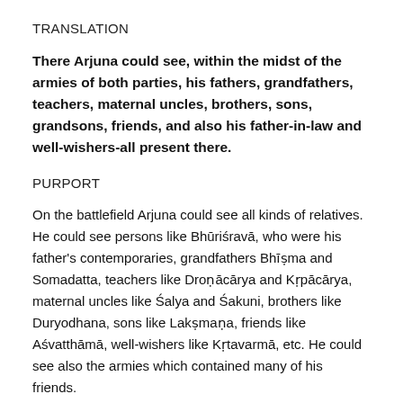TRANSLATION
There Arjuna could see, within the midst of the armies of both parties, his fathers, grandfathers, teachers, maternal uncles, brothers, sons, grandsons, friends, and also his father-in-law and well-wishers-all present there.
PURPORT
On the battlefield Arjuna could see all kinds of relatives. He could see persons like Bhūriśravā, who were his father's contemporaries, grandfathers Bhīṣma and Somadatta, teachers like Droṇācārya and Kṛpācārya, maternal uncles like Śalya and Śakuni, brothers like Duryodhana, sons like Lakṣmaṇa, friends like Aśvatthāmā, well-wishers like Kṛtavarmā, etc. He could see also the armies which contained many of his friends.